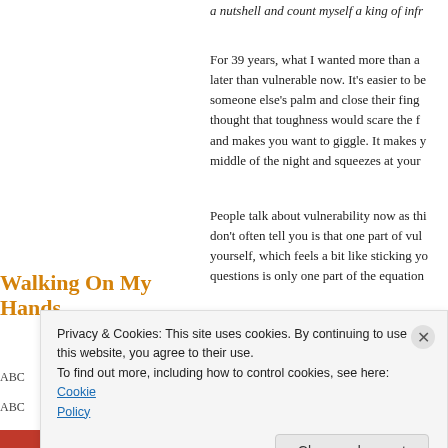a nutshell and count myself a king of infr…
For 39 years, what I wanted more than a… later than vulnerable now. It's easier to be… someone else's palm and close their fing… thought that toughness would scare the f… and makes you want to giggle. It makes y… middle of the night and squeezes at your…
Walking on My Hands
People talk about vulnerability now as thi… don't often tell you is that one part of vuln… yourself, which feels a bit like sticking yo… questions is only one part of the equation…
ABC
ABC
Privacy & Cookies: This site uses cookies. By continuing to use this website, you agree to their use. To find out more, including how to control cookies, see here: Cookie Policy
Close and accept